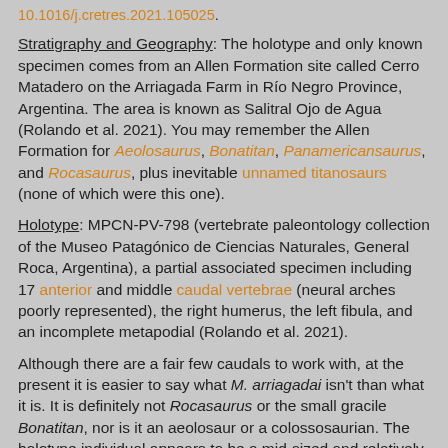10.1016/j.cretres.2021.105025.
Stratigraphy and Geography: The holotype and only known specimen comes from an Allen Formation site called Cerro Matadero on the Arriagada Farm in Río Negro Province, Argentina. The area is known as Salitral Ojo de Agua (Rolando et al. 2021). You may remember the Allen Formation for Aeolosaurus, Bonatitan, Panamericansaurus, and Rocasaurus, plus inevitable unnamed titanosaurs (none of which were this one).
Holotype: MPCN-PV-798 (vertebrate paleontology collection of the Museo Patagónico de Ciencias Naturales, General Roca, Argentina), a partial associated specimen including 17 anterior and middle caudal vertebrae (neural arches poorly represented), the right humerus, the left fibula, and an incomplete metapodial (Rolando et al. 2021).
Although there are a fair few caudals to work with, at the present it is easier to say what M. arriagadai isn't than what it is. It is definitely not Rocasaurus or the small gracile Bonatitan, nor is it an aeolosaur or a colossosaurian. The holotype individual appears to be a mid-sized and relatively